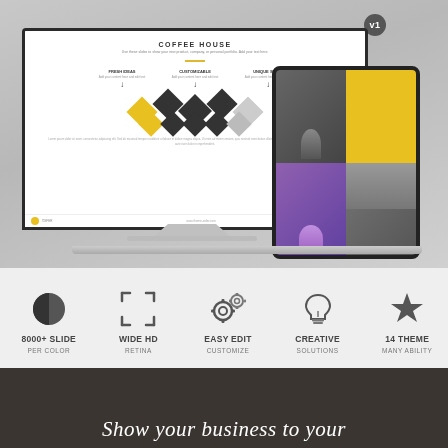[Figure (screenshot): Desktop monitor and tablet mockup showing a presentation template called 'Coffee House' with diamond-shaped icons and yellow/dark color scheme. A v1 badge is in the upper right. Below the monitor is a laptop base.]
[Figure (infographic): Feature strip with five icons and labels: 8000+ SLIDE / PER COLOR, WIDE HD / RETINA, EASY EDIT / CUSTOMIZE, CREATIVE / SOLUTIONS, 14 THEME / MANY ABILITY]
[Figure (photo): Dark background photo (desk with tablet) with white italic text starting: 'Show your business to your']
Show your business to your